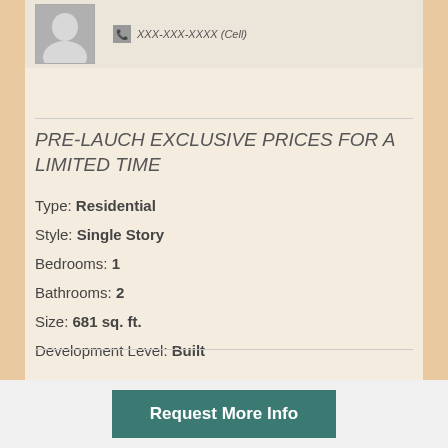[Figure (photo): Agent headshot photo, small portrait in upper left corner]
PRE-LAUCH EXCLUSIVE PRICES FOR A LIMITED TIME
Type: Residential
Style: Single Story
Bedrooms: 1
Bathrooms: 2
Size: 681 sq. ft.
Development Level: Built
Request More Info